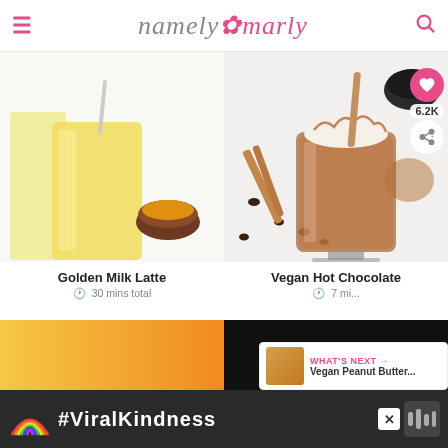namely marly — website header with hamburger menu and search icon
[Figure (photo): Golden milk latte in a tall glass with yellow straw, with a bowl of turmeric powder beside it on a white surface]
Golden Milk Latte
30 mins total
[Figure (photo): Vegan hot chocolate in a footed glass mug topped with whipped cream and chocolate sauce drizzle, with cinnamon sticks, chocolate chips, and a small bowl of chocolate chips in background]
Vegan Hot Chocolate
7 mi...
[Figure (other): What's Next panel showing a cookie thumbnail with text 'Vegan Peanut Butter...']
[Figure (other): Advertisement banner with rainbow illustration and #ViralKindness text on dark background]